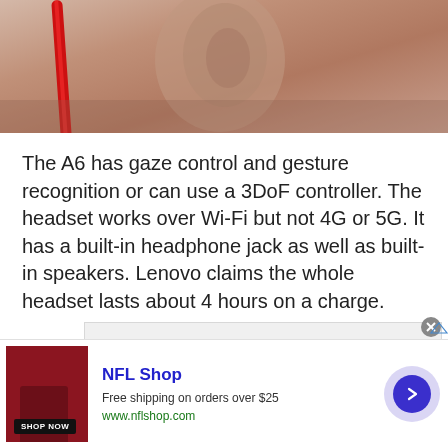[Figure (photo): Close-up photo of a person's ear and face, with a red cord/cable visible on the left side. The image is cropped showing the side of a person's head.]
The A6 has gaze control and gesture recognition or can use a 3DoF controller. The headset works over Wi-Fi but not 4G or 5G. It has a built-in headphone jack as well as built-in speakers. Lenovo claims the whole headset lasts about 4 hours on a charge.
[Figure (other): Advertisement placeholder box with 'Advertisement' label text, light gray background.]
[Figure (other): NFL Shop advertisement banner at bottom. Shows a dark red/maroon product image on the left, NFL Shop text in blue, 'Free shipping on orders over $25' subtitle, 'www.nflshop.com' URL in green, a SHOP NOW button, and a purple/blue circular arrow button on the right. Has an X close button and AdChoices icon.]